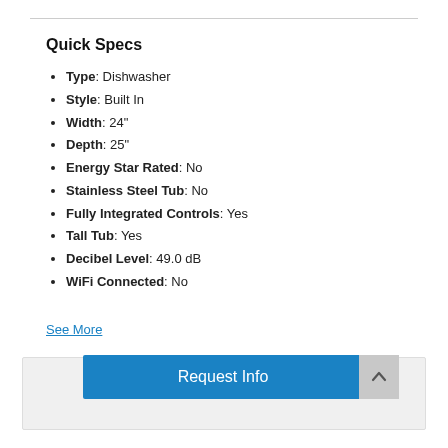Quick Specs
Type: Dishwasher
Style: Built In
Width: 24"
Depth: 25"
Energy Star Rated: No
Stainless Steel Tub: No
Fully Integrated Controls: Yes
Tall Tub: Yes
Decibel Level: 49.0 dB
WiFi Connected: No
See More
Our Price   $779.99
- 1 +
Request Info